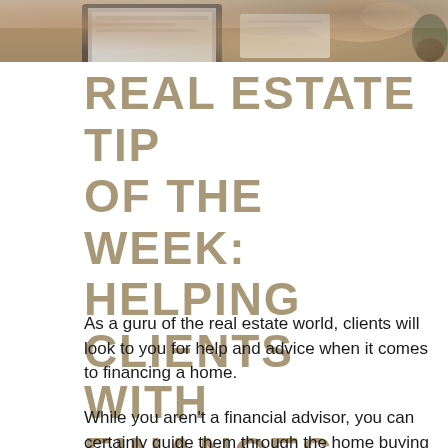[Figure (photo): Top portion of a photo showing a desk scene with a laptop, papers, hands, and a small plant — cropped at the bottom edge of the image strip.]
REAL ESTATE TIP OF THE WEEK: HELPING CLIENTS WITH FINANCES
As a guru of the real estate world, clients will look to you for help and advice when it comes to financing a home.
While you aren't a financial advisor, you can certainly guide them through the home buying process, and showcase different options that are available to them. You might even be able to refer